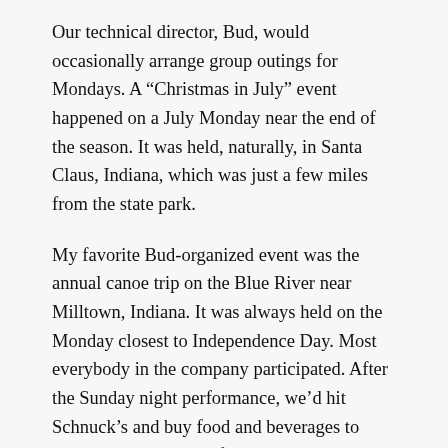Our technical director, Bud, would occasionally arrange group outings for Mondays. A “Christmas in July” event happened on a July Monday near the end of the season. It was held, naturally, in Santa Claus, Indiana, which was just a few miles from the state park.
My favorite Bud-organized event was the annual canoe trip on the Blue River near Milltown, Indiana. It was always held on the Monday closest to Independence Day. Most everybody in the company participated. After the Sunday night performance, we’d hit Schnuck’s and buy food and beverages to pack into coolers. My friend Randy always packed a large supply of chicken wings. Now that I’m thinking of it, I’m pretty sure I left my Blue River cooler to Randy when I moved to Texas.
On Monday morning, we’d leave Evansville early in cars and travel to Milltown (www.sayecountrycanoes.com). After